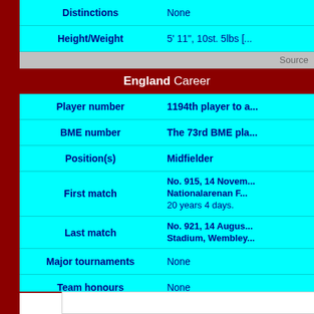| Field | Value |
| --- | --- |
| Distinctions | None |
| Height/Weight | 5' 11", 10st. 5lbs [...] |
| Source |  |
| England Career |  |
| Player number | 1194th player to a... |
| BME number | The 73rd BME pla... |
| Position(s) | Midfielder |
| First match | No. 915, 14 November Nationalarenan F... 20 years 4 days. |
| Last match | No. 921, 14 August, Stadium, Wembley... |
| Major tournaments | None |
| Team honours | None |
| Individual honours | England U21 (thirte... 2011), Côte d'Ivoi... |
| Distinctions | Born in the Côte d... England match at... d'Ivoire. |